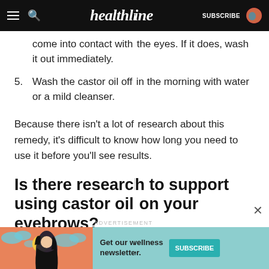healthline
come into contact with the eyes. If it does, wash it out immediately.
5. Wash the castor oil off in the morning with water or a mild cleanser.
Because there isn’t a lot of research about this remedy, it’s difficult to know how long you need to use it before you’ll see results.
Is there research to support using castor oil on your eyebrows?
[Figure (other): Advertisement banner for Healthline wellness newsletter with illustration of a woman and SUBSCRIBE button]